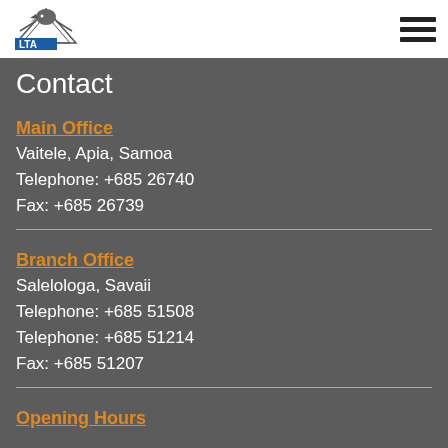[Figure (logo): LTA Samoa logo - eagle/mountain graphic with blue LTA text]
Contact
Main Office
Vaitele, Apia, Samoa
Telephone: +685 26740
Fax: +685 26739
Branch Office
Salelologa, Savaii
Telephone: +685 51508
Telephone: +685 51214
Fax: +685 51207
Opening Hours
Monday - Friday, 8am - 5pm